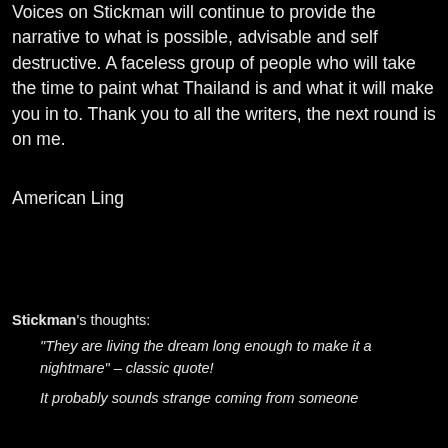Voices on Stickman will continue to provide the narrative to what is possible, advisable and self destructive. A faceless group of people who will take the time to paint what Thailand is and what it will make you in to. Thank you to all the writers, the next round is on me.
American Ling
Stickman's thoughts:
"They are living the dream long enough to make it a nightmare" – classic quote!
It probably sounds strange coming from someone